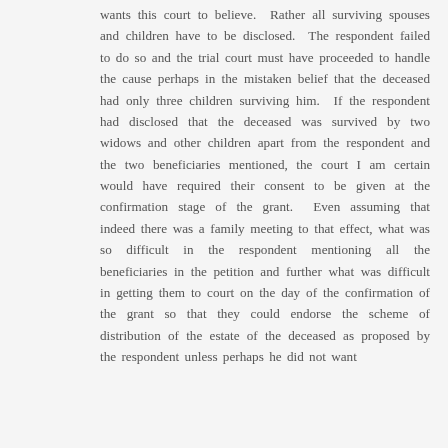wants this court to believe.  Rather all surviving spouses and children have to be disclosed.  The respondent failed to do so and the trial court must have proceeded to handle the cause perhaps in the mistaken belief that the deceased had only three children surviving him.  If the respondent had disclosed that the deceased was survived by two widows and other children apart from the respondent and the two beneficiaries mentioned, the court I am certain would have required their consent to be given at the confirmation stage of the grant.  Even assuming that indeed there was a family meeting to that effect, what was so difficult in the respondent mentioning all the beneficiaries in the petition and further what was difficult in getting them to court on the day of the confirmation of the grant so that they could endorse the scheme of distribution of the estate of the deceased as proposed by the respondent unless perhaps he did not want